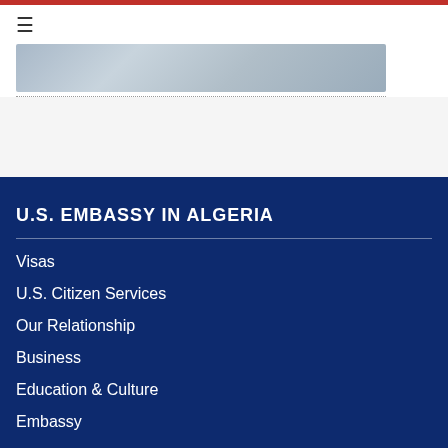[Figure (photo): Partial image banner showing a blurred/faded photographic image in blue-gray tones]
U.S. EMBASSY IN ALGERIA
Visas
U.S. Citizen Services
Our Relationship
Business
Education & Culture
Embassy